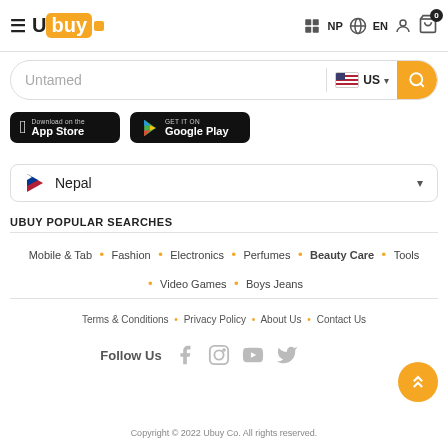Ubuy — NP EN [cart: 0]
Untamed [search bar with US flag]
[Figure (screenshot): App Store and Google Play download buttons]
Nepal [country selector dropdown]
UBUY POPULAR SEARCHES
Mobile & Tab • Fashion • Electronics • Perfumes • Beauty Care • Tools • Video Games • Boys Jeans
Terms & Conditions • Privacy Policy • About Us • Contact Us
Follow Us [Facebook, Instagram, YouTube, Twitter icons]
Copyright © 2022 Ubuy Co. All rights reserved.